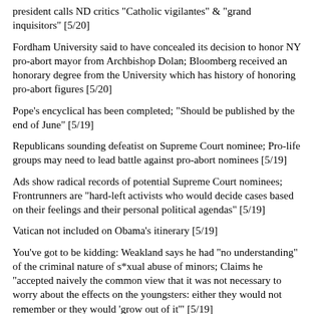president calls ND critics "Catholic vigilantes" & "grand inquisitors" [5/20]
Fordham University said to have concealed its decision to honor NY pro-abort mayor from Archbishop Dolan; Bloomberg received an honorary degree from the University which has history of honoring pro-abort figures [5/20]
Pope's encyclical has been completed; "Should be published by the end of June" [5/19]
Republicans sounding defeatist on Supreme Court nominee; Pro-life groups may need to lead battle against pro-abort nominees [5/19]
Ads show radical records of potential Supreme Court nominees; Frontrunners are "hard-left activists who would decide cases based on their feelings and their personal political agendas" [5/19]
Vatican not included on Obama's itinerary [5/19]
You've got to be kidding: Weakland says he had "no understanding" of the criminal nature of s*xual abuse of minors; Claims he "accepted naively the common view that it was not necessary to worry about the effects on the youngsters: either they would not remember or they would 'grow out of it'" [5/19]